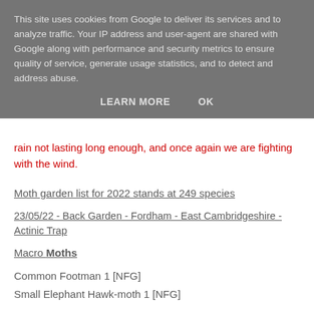This site uses cookies from Google to deliver its services and to analyze traffic. Your IP address and user-agent are shared with Google along with performance and security metrics to ensure quality of service, generate usage statistics, and to detect and address abuse.
LEARN MORE   OK
rain not lasting long enough, and once again we are fighting with the wind.
Moth garden list for 2022 stands at 249 species
23/05/22 - Back Garden - Fordham - East Cambridgeshire - Actinic Trap
Macro Moths
Common Footman 1 [NFG]
Small Elephant Hawk-moth 1 [NFG]
Buff-tip 1